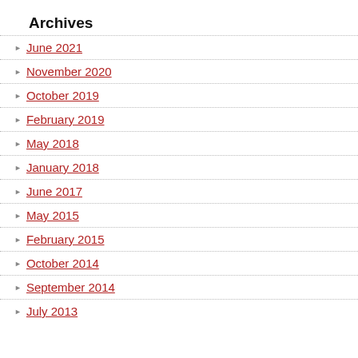Archives
June 2021
November 2020
October 2019
February 2019
May 2018
January 2018
June 2017
May 2015
February 2015
October 2014
September 2014
July 2013